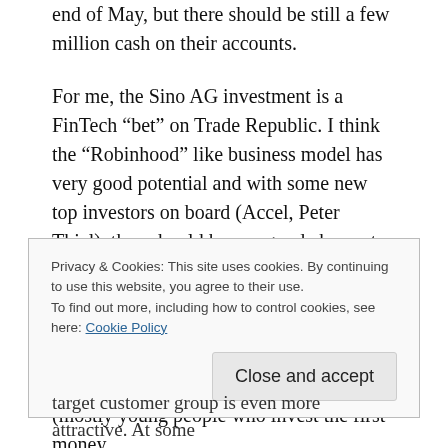end of May, but there should be still a few million cash on their accounts.
For me, the Sino AG investment is a FinTech “bet” on Trade Republic. I think the “Robinhood” like business model has very good potential and with some new top investors on board (Accel, Peter Thiel), they should have a good chance to grow outside Germany as well. The business model of Trade Republic als depends less on interest margins and has some very interesting opportunities to offer different products to the target clients (mostly young people who invest the first money
Privacy & Cookies: This site uses cookies. By continuing to use this website, you agree to their use.
To find out more, including how to control cookies, see here: Cookie Policy
target customer group is even more attractive. At some